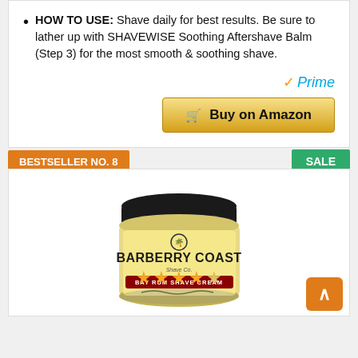HOW TO USE: Shave daily for best results. Be sure to lather up with SHAVEWISE Soothing Aftershave Balm (Step 3) for the most smooth & soothing shave.
[Figure (logo): Amazon Prime logo with checkmark and blue italic Prime text]
[Figure (illustration): Buy on Amazon button with shopping cart icon, gold/yellow gradient background]
BESTSELLER NO. 8
SALE
[Figure (photo): Barberry Coast Shave Co. Bay Rum Shave Cream jar with black lid and cream/yellow vintage label]
[Figure (illustration): 4 and a half star rating shown in gold stars]